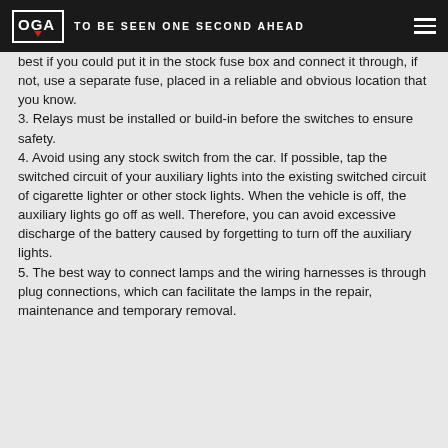OGA TO BE SEEN ONE SECOND AHEAD
best if you could put it in the stock fuse box and connect it through, if not, use a separate fuse, placed in a reliable and obvious location that you know.
3. Relays must be installed or build-in before the switches to ensure safety.
4. Avoid using any stock switch from the car. If possible, tap the switched circuit of your auxiliary lights into the existing switched circuit of cigarette lighter or other stock lights. When the vehicle is off, the auxiliary lights go off as well. Therefore, you can avoid excessive discharge of the battery caused by forgetting to turn off the auxiliary lights.
5. The best way to connect lamps and the wiring harnesses is through plug connections, which can facilitate the lamps in the repair, maintenance and temporary removal.